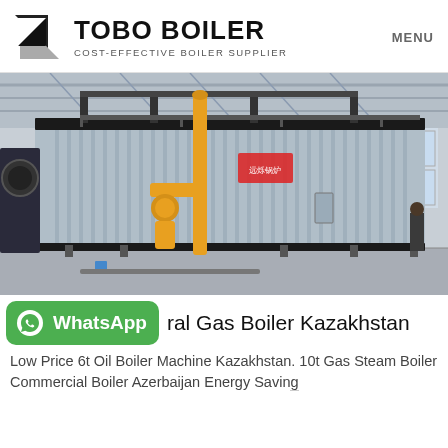TOBO BOILER COST-EFFECTIVE BOILER SUPPLIER | MENU
[Figure (photo): Industrial gas boiler with corrugated metal casing and yellow gas pipe fittings in a large factory building. A person stands near the right end of the boiler for scale.]
Natural Gas Boiler Kazakhstan
Low Price 6t Oil Boiler Machine Kazakhstan. 10t Gas Steam Boiler Commercial Boiler Azerbaijan Energy Saving